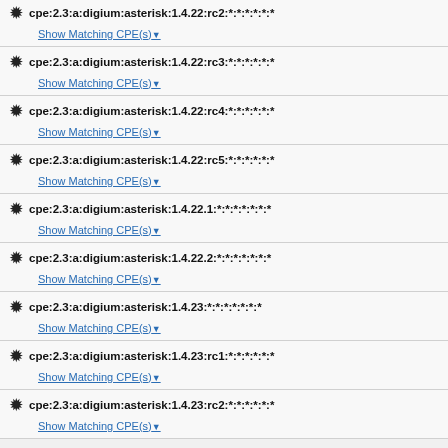cpe:2.3:a:digium:asterisk:1.4.22:rc2:*:*:*:*:*:*
cpe:2.3:a:digium:asterisk:1.4.22:rc3:*:*:*:*:*:*
cpe:2.3:a:digium:asterisk:1.4.22:rc4:*:*:*:*:*:*
cpe:2.3:a:digium:asterisk:1.4.22:rc5:*:*:*:*:*:*
cpe:2.3:a:digium:asterisk:1.4.22.1:*:*:*:*:*:*:*
cpe:2.3:a:digium:asterisk:1.4.22.2:*:*:*:*:*:*:*
cpe:2.3:a:digium:asterisk:1.4.23:*:*:*:*:*:*:*
cpe:2.3:a:digium:asterisk:1.4.23:rc1:*:*:*:*:*:*
cpe:2.3:a:digium:asterisk:1.4.23:rc2:*:*:*:*:*:*